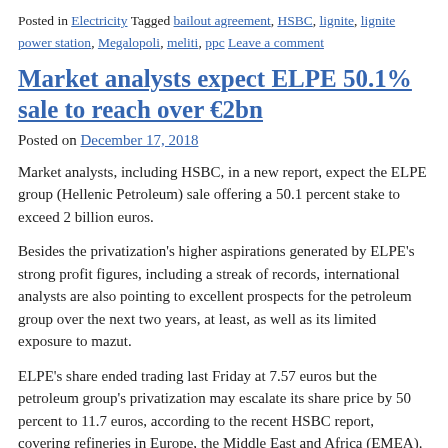Posted in Electricity Tagged bailout agreement, HSBC, lignite, lignite power station, Megalopoli, meliti, ppc Leave a comment
Market analysts expect ELPE 50.1% sale to reach over €2bn
Posted on December 17, 2018
Market analysts, including HSBC, in a new report, expect the ELPE group (Hellenic Petroleum) sale offering a 50.1 percent stake to exceed 2 billion euros.
Besides the privatization's higher aspirations generated by ELPE's strong profit figures, including a streak of records, international analysts are also pointing to excellent prospects for the petroleum group over the next two years, at least, as well as its limited exposure to mazut.
ELPE's share ended trading last Friday at 7.57 euros but the petroleum group's privatization may escalate its share price by 50 percent to 11.7 euros, according to the recent HSBC report, covering refineries in Europe, the Middle East and Africa (EMEA).
Given a share price of 11.7 euros, a 50.1 percent stake of ELPE would be worth 1.78 billion euros. Adding a 20 percent premium to this figure for the petroleum firm's management rights also offered in the sale increases the